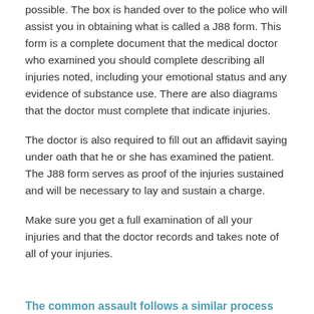possible. The box is handed over to the police who will assist you in obtaining what is called a J88 form. This form is a complete document that the medical doctor who examined you should complete describing all injuries noted, including your emotional status and any evidence of substance use. There are also diagrams that the doctor must complete that indicate injuries.
The doctor is also required to fill out an affidavit saying under oath that he or she has examined the patient. The J88 form serves as proof of the injuries sustained and will be necessary to lay and sustain a charge.
Make sure you get a full examination of all your injuries and that the doctor records and takes note of all of your injuries.
The common assault follows a similar process